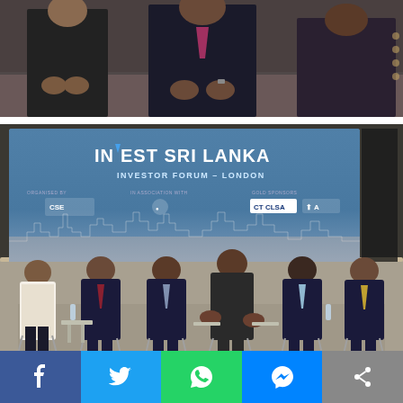[Figure (photo): Partial photo showing seated men in formal suits, cropped at top of page, dark background]
[Figure (photo): Panel discussion at Invest Sri Lanka Investor Forum London event. Six panelists seated on stage in front of a large backdrop reading 'INVEST SRI LANKA – INVESTOR FORUM – LONDON' with logos for CSE, CT CLSA and other sponsors. Men in business suits seated in chairs on a raised stage.]
[Figure (photo): Partial photo at bottom showing decorative artwork/paintings on a wall, cropped]
[Figure (infographic): Social media sharing bar with five buttons: Facebook (blue), Twitter (light blue), WhatsApp (green), Messenger (blue), and Share (grey)]